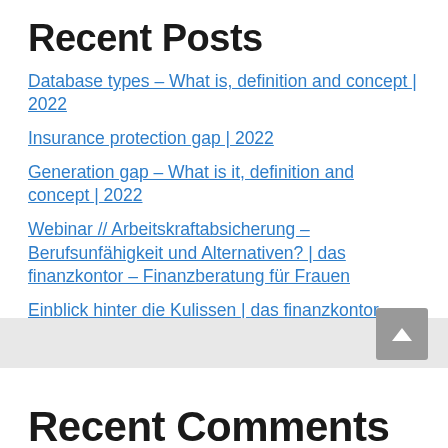Recent Posts
Database types – What is, definition and concept | 2022
Insurance protection gap | 2022
Generation gap – What is it, definition and concept | 2022
Webinar // Arbeitskraftabsicherung – Berufsunfähigkeit und Alternativen? | das finanzkontor – Finanzberatung für Frauen
Einblick hinter die Kulissen | das finanzkontor – Finanzberatung für Frauen
Recent Comments